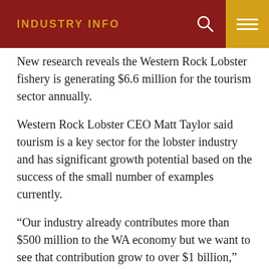INDUSTRY INFO
New research reveals the Western Rock Lobster fishery is generating $6.6 million for the tourism sector annually.
Western Rock Lobster CEO Matt Taylor said tourism is a key sector for the lobster industry and has significant growth potential based on the success of the small number of examples currently.
“Our industry already contributes more than $500 million to the WA economy but we want to see that contribution grow to over $1 billion,” Mr Taylor said.
“The domestic sale and export of western rock lobster generates opportunities across the economy including boat building, seafood processing, transport